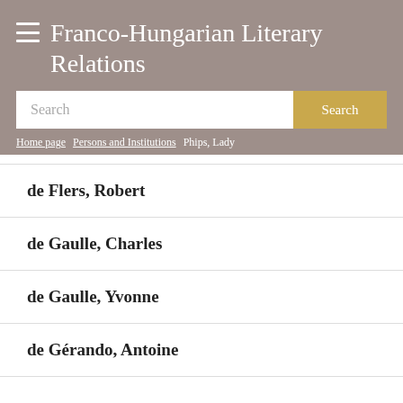Franco-Hungarian Literary Relations
Search
Home page / Persons and Institutions / Phips, Lady
de Flers, Robert
de Gaulle, Charles
de Gaulle, Yvonne
de Gérando, Antoine